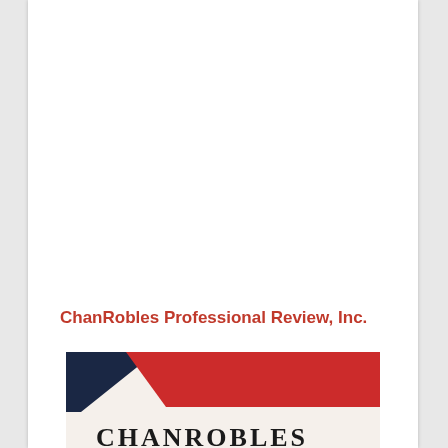ChanRobles Professional Review, Inc.
[Figure (logo): ChanRobles logo with diagonal red, dark navy, and cream geometric shapes forming a banner-like design with the ChanRobles name partially visible at the bottom]